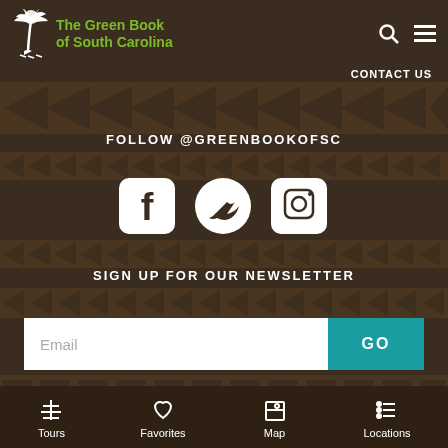The Green Book of South Carolina
CONTACT US
FOLLOW @GREENBOOKOFSC
[Figure (infographic): Social media icons: Facebook, Twitter, Instagram in white on brown background]
SIGN UP FOR OUR NEWSLETTER
[Figure (infographic): Email input field with placeholder 'Email' and a teal GO button]
© 2022 The Green Book of South Carolina
[Figure (infographic): Bottom navigation bar with Tours, Favorites, Map, Locations icons]